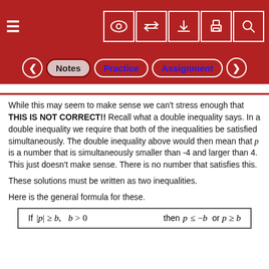Navigation toolbar with Notes, Practice, Assignment tabs
While this may seem to make sense we can't stress enough that THIS IS NOT CORRECT!! Recall what a double inequality says. In a double inequality we require that both of the inequalities be satisfied simultaneously. The double inequality above would then mean that p is a number that is simultaneously smaller than -4 and larger than 4. This just doesn't make sense. There is no number that satisfies this.
These solutions must be written as two inequalities.
Here is the general formula for these.